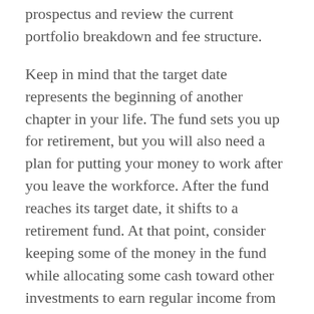prospectus and review the current portfolio breakdown and fee structure.
Keep in mind that the target date represents the beginning of another chapter in your life. The fund sets you up for retirement, but you will also need a plan for putting your money to work after you leave the workforce. After the fund reaches its target date, it shifts to a retirement fund. At that point, consider keeping some of the money in the fund while allocating some cash toward other investments to earn regular income from your savings.
As part of this switch from work to retirement, it can be worthwhile to meet with a financial advisor.